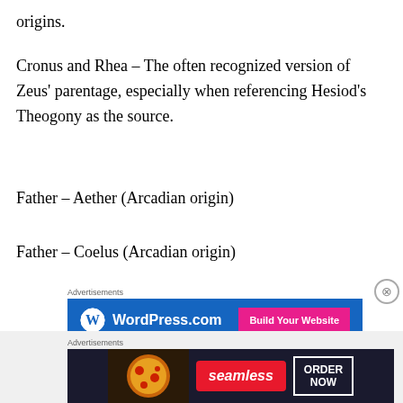origins.
Cronus and Rhea – The often recognized version of Zeus' parentage, especially when referencing Hesiod's Theogony as the source.
Father – Aether (Arcadian origin)
Father – Coelus (Arcadian origin)
[Figure (other): WordPress.com advertisement banner with 'Build Your Website' button on blue background]
Father – Saturnus (Cretan origin)
[Figure (other): Seamless food delivery advertisement banner with pizza image, seamless logo, and ORDER NOW button]